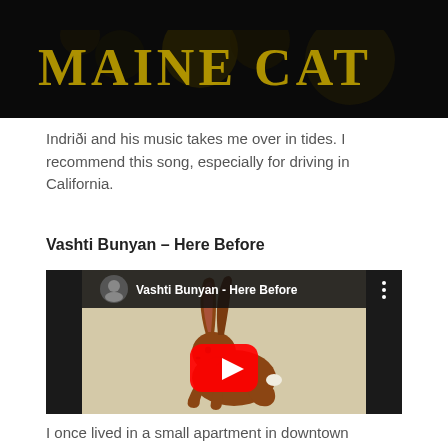[Figure (screenshot): Top portion of a dark/black video thumbnail with partial golden text visible reading something like 'Maine Coon' or similar, on a black background with bokeh lights]
Indriði and his music takes me over in tides. I recommend this song, especially for driving in California.
Vashti Bunyan – Here Before
[Figure (screenshot): YouTube video thumbnail for 'Vashti Bunyan - Here Before' showing a brown hare/rabbit illustration on a light background, with a red YouTube play button in the center, a circular profile picture on the top left, and a three-dot menu icon on the top right]
I once lived in a small apartment in downtown Eeykjavík for a few